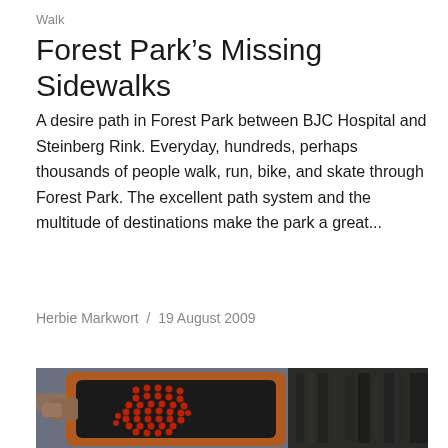Walk
Forest Park’s Missing Sidewalks
A desire path in Forest Park between BJC Hospital and Steinberg Rink. Everyday, hundreds, perhaps thousands of people walk, run, bike, and skate through Forest Park. The excellent path system and the multitude of destinations make the park a great...
Herbie Markwort  /  19 August 2009
[Figure (photo): A pedestrian traffic signal showing the red stop hand (don't walk) symbol made of LED lights, mounted on a traffic signal box. A hand is visible on the left side. A building or pole structure is visible on the right side in the dark background.]